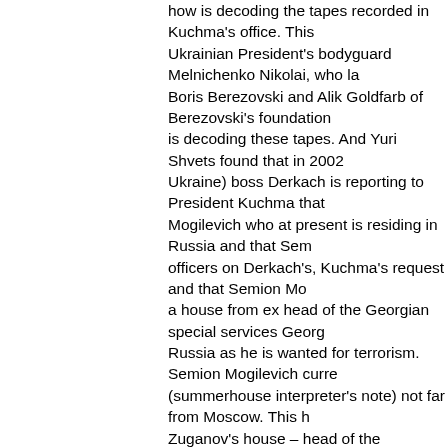how is decoding the tapes recorded in Kuchma's office. This Ukrainian President's bodyguard Melnichenko Nikolai, who la Boris Berezovski and Alik Goldfarb of Berezovski's foundation is decoding these tapes. And Yuri Shvets found that in 2002 Ukraine) boss Derkach is reporting to President Kuchma that Mogilevich who at present is residing in Russia and that Sem officers on Derkach's, Kuchma's request and that Semion Mo a house from ex head of the Georgian special services Georg Russia as he is wanted for terrorism. Semion Mogilevich curre (summerhouse interpreter's note) not far from Moscow. This h Zuganov's house – head of the communist party of Russia. H other every day. When Kuchma asked what sort of place is it residing alongside with such high ranked people, Derkach sa safeguarded place were high ranking Russian officials are res managed to get a residence there as he is in a very close rel president Putin whom he knows since Putin was working in S a common cause, in my understanding a criminal cause. At th Mogilevich's "krisha" (protection in criminal jargon – interprete protects Mogilevich. And this is the reason that FBI can not a from this conversation that Putin is in fact hiding Mogilevich. B Mogilevich was arm dealer and particularly was selling weapo There is information that on Al-Qaeda's request Mogilevich tr bomb. I know beyond the doubt that Mogilevich is FSB's lon